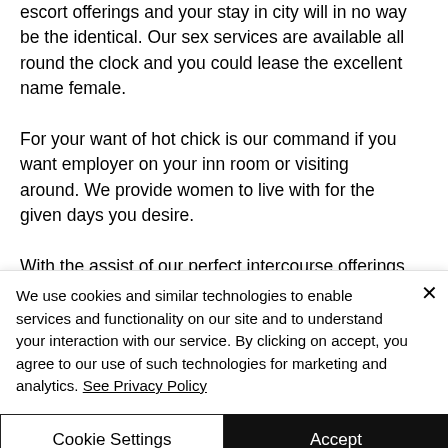escort offerings and your stay in city will in no way be the identical. Our sex services are available all round the clock and you could lease the excellent name female.
For your want of hot chick is our command if you want employer on your inn room or visiting around. We provide women to live with for the given days you desire.
With the assist of our perfect intercourse offerings, you may discover beautiful woman escort Ajmer to help make your
We use cookies and similar technologies to enable services and functionality on our site and to understand your interaction with our service. By clicking on accept, you agree to our use of such technologies for marketing and analytics. See Privacy Policy
Cookie Settings
Accept